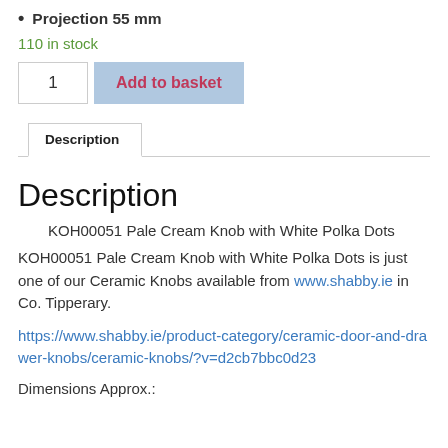Projection 55 mm
110 in stock
1   Add to basket
Description
Description
KOH00051 Pale Cream Knob with White Polka Dots
KOH00051 Pale Cream Knob with White Polka Dots is just one of our Ceramic Knobs available from www.shabby.ie in Co. Tipperary.
https://www.shabby.ie/product-category/ceramic-door-and-drawer-knobs/ceramic-knobs/?v=d2cb7bbc0d23
Dimensions Approx.: